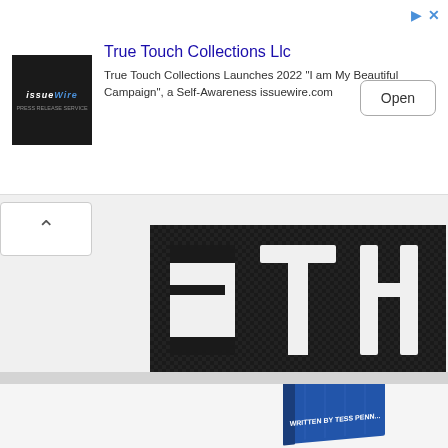[Figure (screenshot): Advertisement banner for True Touch Collections Llc via IssueWire, showing logo, ad text, and Open button]
[Figure (logo): End Time Headlines logo on dark carbon-fiber background with large ETH letters and red/white circles]
[Figure (photo): Blue book cover partially visible, written by Tess Pennington, at bottom of page]